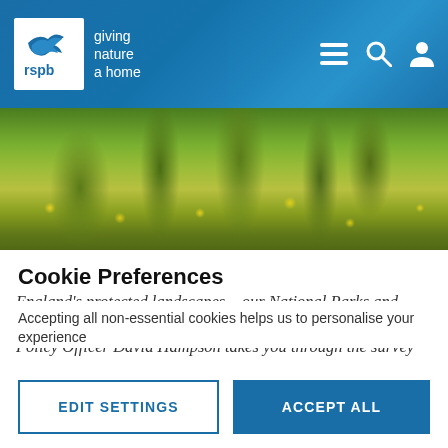[Figure (logo): RSPB logo with bird silhouette and text 'giving nature a home']
[Figure (photo): Wildflower meadow with yellow flowers and tall stems against green foliage]
The government is asking for everyone's views on changes to England's protected landscapes – our National Parks and Areas of Outstanding Natural Beauty (AONBs). RSPB Site Policy Officer David Hampson takes you through the survey
Cookie Preferences
Accepting all non-essential cookies helps us to personalise your experience
EDIT SETTINGS
ACCEPT ALL